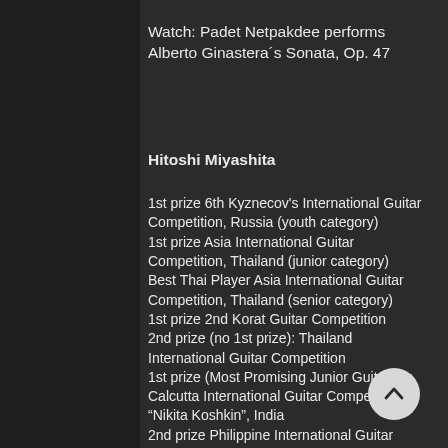Watch: Padet Netpakdee performs Alberto Ginastera´s Sonata, Op. 47
Hitoshi Miyashita
1st prize 6th Kyznecov's International Guitar Competition, Russia (youth category)
1st prize Asia International Guitar Competition, Thailand (junior category)
Best Thai Player Asia International Guitar Competition, Thailand (senior category)
1st prize 2nd Korat Guitar Competition
2nd prize (no 1st prize): Thailand International Guitar Competition
1st prize (Most Promising Junior Guitarist): Calcutta International Guitar Competition “Nikita Koshkin”, India
2nd prize Philippine International Guitar Competition, Philippines
2nd prize 44th International Tokyo Guitar Competition, Japan
Soloist, Thailand Philharmonic Orchestra, 2014 (Arnold: Guitar Concerto)